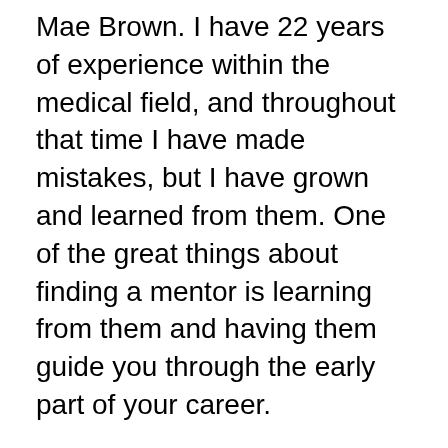Mae Brown. I have 22 years of experience within the medical field, and throughout that time I have made mistakes, but I have grown and learned from them. One of the great things about finding a mentor is learning from them and having them guide you through the early part of your career.
?At times you have to leave the city of your comfort and go into the wilderness of your intuition. What you?ll discover will be wonderful.? -Alan Alda. When I started this career years ago, many people questioned what I was doing. This was at a time when healthy eating was considered ?crunchy? and ?granola?. My family and friends doubted me. But I knew in my heart what I was doing was right